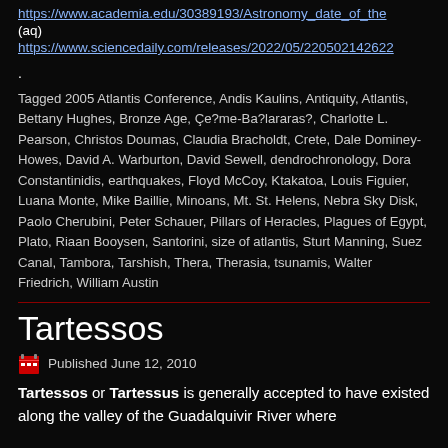https://www.academia.edu/30389193/Astronomy_date_of_the
(aq)
https://www.sciencedaily.com/releases/2022/05/220502142622
.
Tagged 2005 Atlantis Conference, Andis Kaulins, Antiquity, Atlantis, Bettany Hughes, Bronze Age, Çe?me-Ba?lararas?, Charlotte L. Pearson, Christos Doumas, Claudia Bracholdt, Crete, Dale Dominey-Howes, David A. Warburton, David Sewell, dendrochronology, Dora Constantinidis, earthquakes, Floyd McCoy, Ktakatoa, Louis Figuier, Luana Monte, Mike Baillie, Minoans, Mt. St. Helens, Nebra Sky Disk, Paolo Cherubini, Peter Schauer, Pillars of Heracles, Plagues of Egypt, Plato, Riaan Booysen, Santorini, size of atlantis, Sturt Manning, Suez Canal, Tambora, Tarshish, Thera, Therasia, tsunamis, Walter Friedrich, William Austin
Tartessos
Published June 12, 2010
Tartessos or Tartessus is generally accepted to have existed along the valley of the Guadalquivir River where